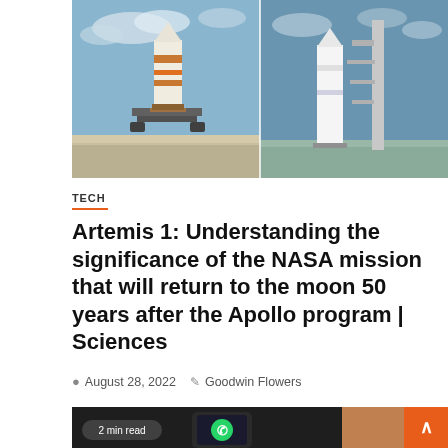[Figure (photo): Two NASA rockets on launch pads side by side. Left rocket is white and orange on a mobile launcher. Right rocket is white on a launch structure with tower. Blue sky with clouds in background.]
TECH
Artemis 1: Understanding the significance of the NASA mission that will return to the moon 50 years after the Apollo program | Sciences
August 28, 2022   Goodwin Flowers
[Figure (photo): A hand holding a smartphone displaying a WhatsApp icon on screen. Dark background with warm orange tones on the right. A badge overlay reads '2 min read'. Orange back-to-top arrow button in top right corner.]